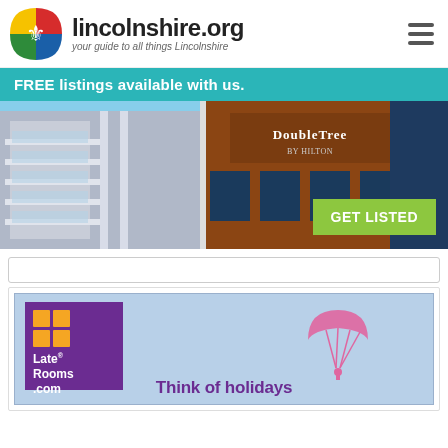lincolnshire.org — your guide to all things Lincolnshire
FREE listings available with us.
[Figure (photo): A modern hotel building with DoubleTree by Hilton signage on a reddish-brown brick facade against a blue sky, with a green 'GET LISTED' button overlay.]
[Figure (screenshot): LateRooms.com advertisement banner with purple logo, orange grid squares, a pink parachute graphic, and the text 'Think of holidays' in purple.]